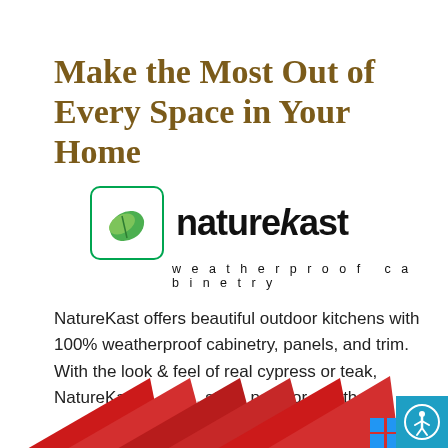Make the Most Out of Every Space in Your Home
[Figure (logo): NatureKast weatherproof cabinetry logo: green leaf in rounded-corner square, text 'naturekast' with leaf accent, subtitle 'weatherproof cabinetry']
NatureKast offers beautiful outdoor kitchens with 100% weatherproof cabinetry, panels, and trim. With the look & feel of real cypress or teak, NatureKast [is available in] stain, paint or weathered
[Figure (infographic): House illustration with red roof and blue windows, overlaid with gray banner reading 'REQUEST A FREE QUOTE TODAY! CLICK HERE']
t warp, fade or crack
ge
le to install
[Figure (other): Circular blue accessibility icon button (person with arms raised) in bottom-right corner]